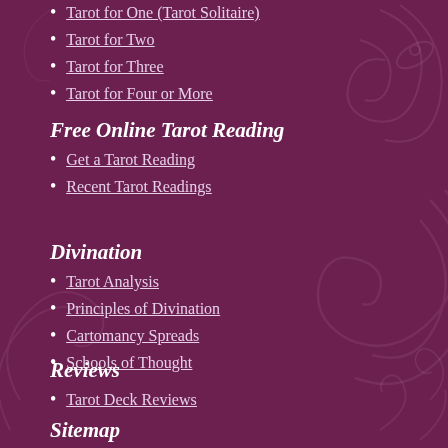Tarot for One (Tarot Solitaire)
Tarot for Two
Tarot for Three
Tarot for Four or More
Free Online Tarot Reading
Get a Tarot Reading
Recent Tarot Readings
Divination
Tarot Analysis
Principles of Divination
Cartomancy Spreads
Schools of Thought
Reviews
Tarot Deck Reviews
Sitemap
Sitemap